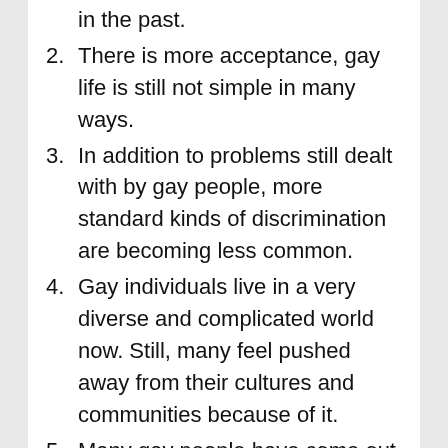in the past.
2. There is more acceptance, gay life is still not simple in many ways.
3. In addition to problems still dealt with by gay people, more standard kinds of discrimination are becoming less common.
4. Gay individuals live in a very diverse and complicated world now. Still, many feel pushed away from their cultures and communities because of it.
5. Many gay people have come out to their friends and families and have